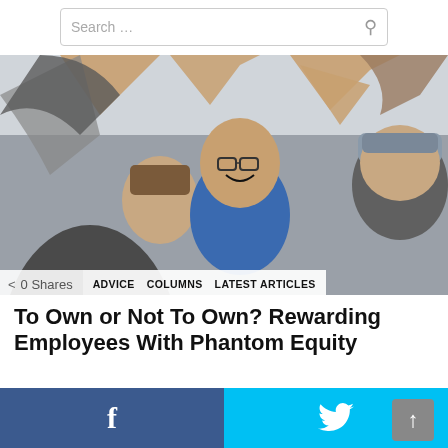Search ...
[Figure (photo): Group of people high-fiving each other in celebration, indoors office setting]
0 Shares
ADVICE  COLUMNS  LATEST ARTICLES
To Own or Not To Own? Rewarding Employees With Phantom Equity
[Figure (other): Gray advertisement or content placeholder box]
Facebook share button | Twitter share button